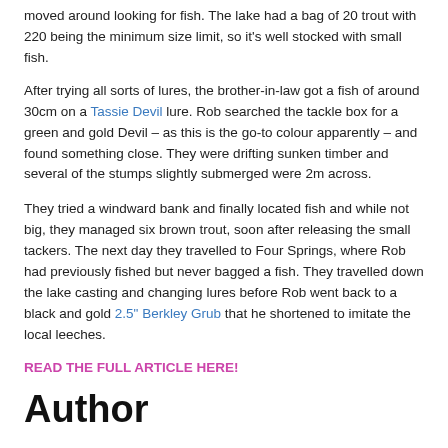moved around looking for fish. The lake had a bag of 20 trout with 220 being the minimum size limit, so it's well stocked with small fish.
After trying all sorts of lures, the brother-in-law got a fish of around 30cm on a Tassie Devil lure. Rob searched the tackle box for a green and gold Devil – as this is the go-to colour apparently – and found something close. They were drifting sunken timber and several of the stumps slightly submerged were 2m across.
They tried a windward bank and finally located fish and while not big, they managed six brown trout, soon after releasing the small tackers. The next day they travelled to Four Springs, where Rob had previously fished but never bagged a fish. They travelled down the lake casting and changing lures before Rob went back to a black and gold 2.5" Berkley Grub that he shortened to imitate the local leeches.
READ THE FULL ARTICLE HERE!
Author